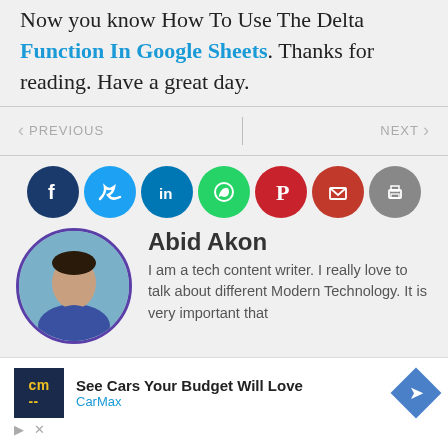Now you know How To Use The Delta Function In Google Sheets. Thanks for reading. Have a great day.
< PREVIOUS  |  NEXT >
[Figure (infographic): Row of 7 social media share icons: Facebook (dark blue), Twitter (light blue), LinkedIn (blue), WhatsApp (green), Pinterest (red), Email (dark red), Print (gray)]
Abid Akon
I am a tech content writer. I really love to talk about different Modern Technology. It is very important that
[Figure (photo): Author profile photo of Abid Akon in circular frame with purple border]
See Cars Your Budget Will Love
CarMax